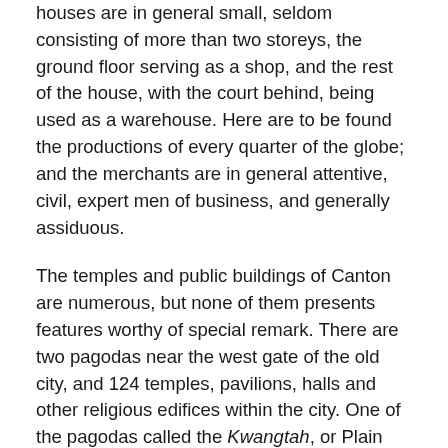houses are in general small, seldom consisting of more than two storeys, the ground floor serving as a shop, and the rest of the house, with the court behind, being used as a warehouse. Here are to be found the productions of every quarter of the globe; and the merchants are in general attentive, civil, expert men of business, and generally assiduous.
The temples and public buildings of Canton are numerous, but none of them presents features worthy of special remark. There are two pagodas near the west gate of the old city, and 124 temples, pavilions, halls and other religious edifices within the city. One of the pagodas called the Kwangtah, or Plain Pagoda, is a Mahommedan mosque, which was erected by the Arabian voyagers who were in the habit of visiting Canton about ten centuries ago. It rises in an angular tapering tower to the height of 160 ft. The other is an octagonal pagoda of nine storeys,